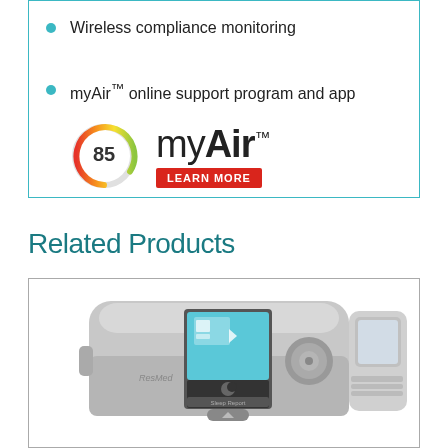Wireless compliance monitoring
myAir™ online support program and app
[Figure (logo): myAir score circle showing 85 with colorful gradient arc, myAir brand logo, and LEARN MORE red button]
Related Products
[Figure (photo): ResMed AirSense CPAP machine with humidifier, color touchscreen display showing My Options menu]